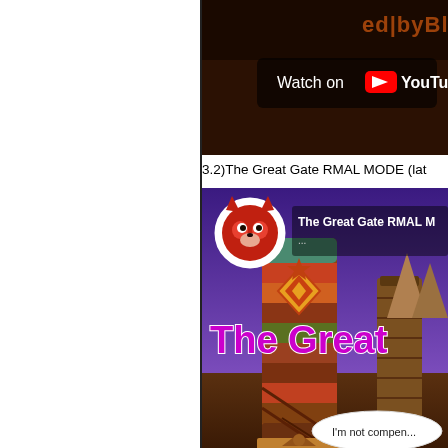[Figure (screenshot): YouTube video thumbnail showing a dark game scene with orange text 'ed|byBl' partially visible. White 'Watch on YouTube' overlay button in the center.]
3.2)The Great Gate RMAL MODE (lat
[Figure (screenshot): YouTube video thumbnail for 'The Great Gate RMAL M...' showing a game scene with a large tiki/totem tower and wooden gate structures against a purple sky. A circular avatar with a red cat-like character is shown top left. Large purple text 'The Great' is overlaid. Bottom right shows a speech bubble with text 'I'm not compen...']